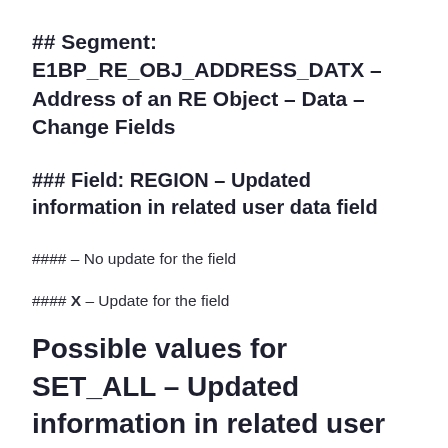## Segment: E1BP_RE_OBJ_ADDRESS_DATX – Address of an RE Object – Data – Change Fields
### Field: REGION – Updated information in related user data field
#### – No update for the field
#### X – Update for the field
Possible values for SET_ALL – Updated information in related user data field within